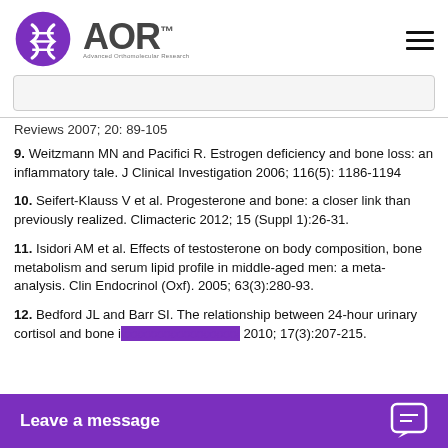[Figure (logo): AOR Advanced Orthomolecular Research logo with purple circular icon and AOR text]
Reviews 2007; 20: 89-105
9. Weitzmann MN and Pacifici R. Estrogen deficiency and bone loss: an inflammatory tale. J Clinical Investigation 2006; 116(5): 1186-1194
10. Seifert-Klauss V et al. Progesterone and bone: a closer link than previously realized. Climacteric 2012; 15 (Suppl 1):26-31.
11. Isidori AM et al. Effects of testosterone on body composition, bone metabolism and serum lipid profile in middle-aged men: a meta-analysis. Clin Endocrinol (Oxf). 2005; 63(3):280-93.
12. Bedford JL and Barr SI. The relationship between 24-hour urinary cortisol and bone i... 2010; 17(3):207-215.
Leave a message